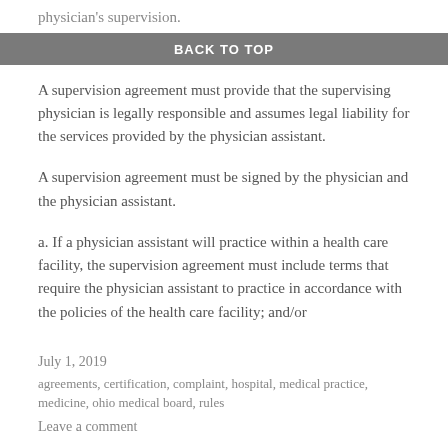physician's supervision.
BACK TO TOP
A supervision agreement must provide that the supervising physician is legally responsible and assumes legal liability for the services provided by the physician assistant.
A supervision agreement must be signed by the physician and the physician assistant.
a. If a physician assistant will practice within a health care facility, the supervision agreement must include terms that require the physician assistant to practice in accordance with the policies of the health care facility; and/or
July 1, 2019
agreements, certification, complaint, hospital, medical practice, medicine, ohio medical board, rules
Leave a comment